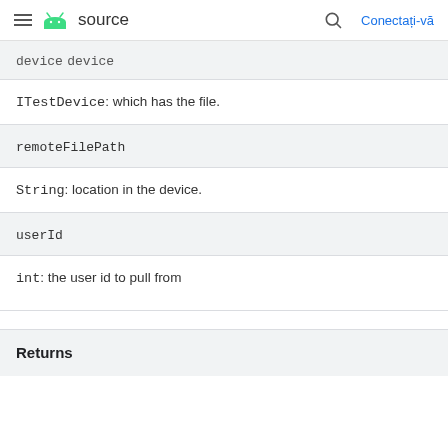source  Conectați-vă
device
ITestDevice: which has the file.
remoteFilePath
String: location in the device.
userId
int: the user id to pull from
Returns